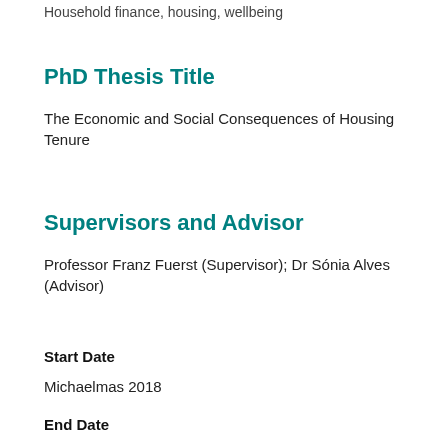Household finance, housing, wellbeing
PhD Thesis Title
The Economic and Social Consequences of Housing Tenure
Supervisors and Advisor
Professor Franz Fuerst (Supervisor); Dr Sónia Alves (Advisor)
Start Date
Michaelmas 2018
End Date